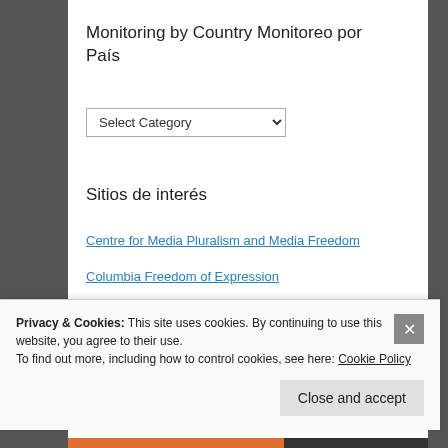Monitoring by Country Monitoreo por País
[Figure (screenshot): A dropdown selector with label 'Select Category' and a chevron arrow]
Sitios de interés
Centre for Media Pluralism and Media Freedom
Columbia Freedom of Expression
European Centre for Press & Media Freedom
European Commission – Media Freedom and Pluralism
European Initiative for Media Freedom
Privacy & Cookies: This site uses cookies. By continuing to use this website, you agree to their use.
To find out more, including how to control cookies, see here: Cookie Policy
Close and accept